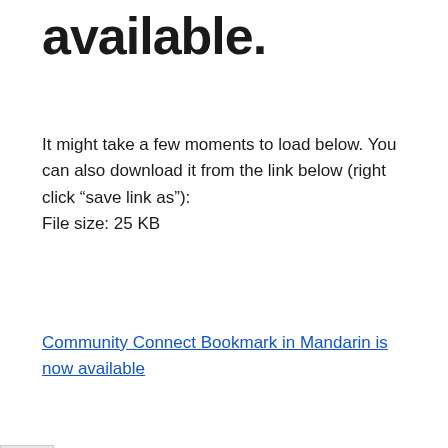available.
It might take a few moments to load below. You can also download it from the link below (right click “save link as”):
File size: 25 KB
Community Connect Bookmark in Mandarin is now available